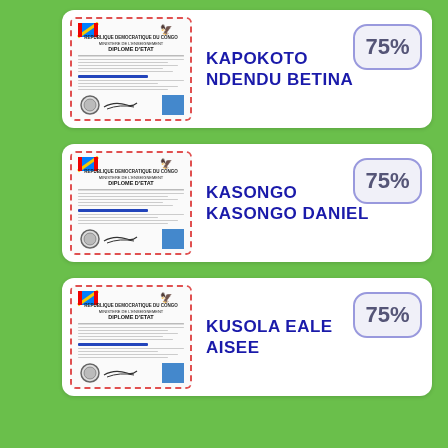[Figure (other): Card 1: Diploma thumbnail for KAPOKOTO NDENDU BETINA showing a DRC state diploma document image with dashed red border]
KAPOKOTO NDENDU BETINA
75%
[Figure (other): Card 2: Diploma thumbnail for KASONGO KASONGO DANIEL showing a DRC state diploma document image with dashed red border]
KASONGO KASONGO DANIEL
75%
[Figure (other): Card 3: Diploma thumbnail for KUSOLA EALE AISEE showing a DRC state diploma document image with dashed red border]
KUSOLA EALE AISEE
75%